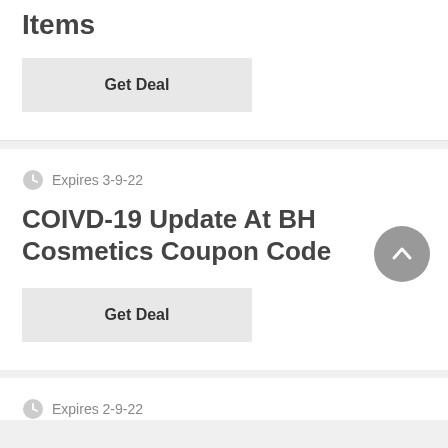Items
Get Deal
Expires 3-9-22
COIVD-19 Update At BH Cosmetics Coupon Code
Get Deal
Expires 2-9-22